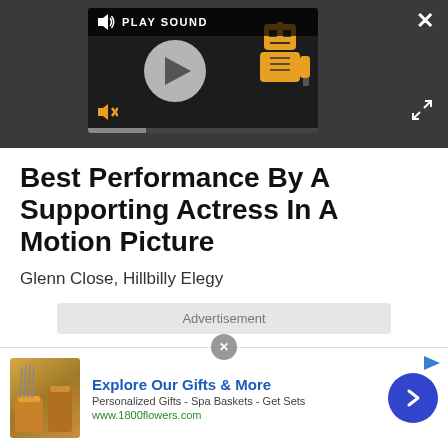[Figure (screenshot): Video player with dark background showing play button, PLAY SOUND label, robot character, mute icon, progress bar, close X button, and expand arrows button]
Best Performance By A Supporting Actress In A Motion Picture
Glenn Close, Hillbilly Elegy
Advertisement
[Figure (screenshot): Advertisement banner for 1800flowers.com showing gift products image, 'Explore Our Gifts & More' heading in blue, 'Personalized Gifts - Spa Baskets - Get Sets' description, green URL, close circle button, and blue navigation arrow circle]